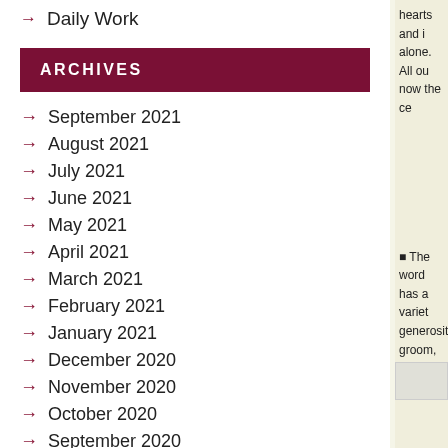→ Daily Work
ARCHIVES
→ September 2021
→ August 2021
→ July 2021
→ June 2021
→ May 2021
→ April 2021
→ March 2021
→ February 2021
→ January 2021
→ December 2020
→ November 2020
→ October 2020
→ September 2020
→ August 2020
→ July 2020
→ June 2020
→ May 2020
hearts and i alone. All ou now the ce
• The word has a variet generosity. groom, our